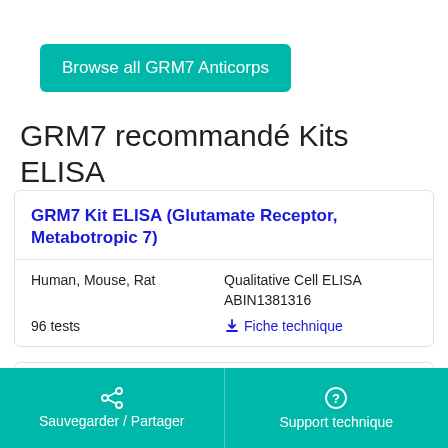Browse all GRM7 Anticorps
GRM7 recommandé Kits ELISA
GRM7 Kit ELISA (Glutamate Receptor, Metabotropic 7)
| Human, Mouse, Rat | Qualitative Cell ELISA |
|  | ABIN1381316 |
| 96 tests | ↓ Fiche technique |
GRM7 Kit ELISA (Glutamate Receptor, Metabotropic 7)
Sauvegarder / Partager    Support technique